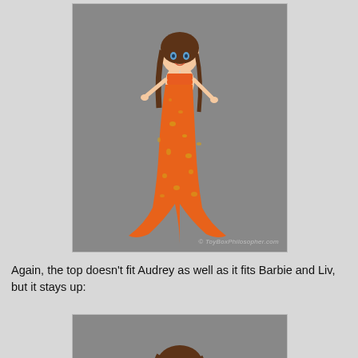[Figure (photo): A mermaid doll (Audrey) wearing an orange sequined mermaid tail and orange top, posed on a gray background. Watermark reads © ToyBoxPhilosopher.com]
Again, the top doesn't fit Audrey as well as it fits Barbie and Liv, but it stays up:
[Figure (photo): Partial view of the same mermaid doll from the torso up, on a gray background.]